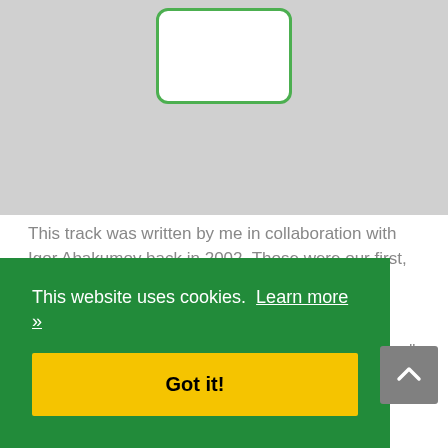[Figure (illustration): Gray background area showing a white phone/device outline with a green border]
This track was written by me in collaboration with Igor Abakumov back in 2002. Those were our first, and up to now also the last, feeble attempts of Progressive Metal composing.
The name is Latin for "After the clouds there is sun", which symbolizes contrast vicissitudes of mood in the
This website uses cookies.  Learn more »
Got it!